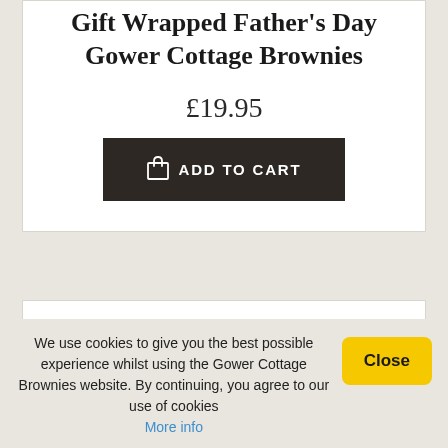Gift Wrapped Father's Day Gower Cottage Brownies
£19.95
ADD TO CART
We use cookies to give you the best possible experience whilst using the Gower Cottage Brownies website. By continuing, you agree to our use of cookies More info